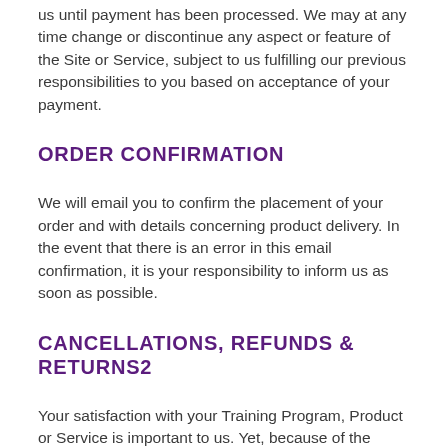us until payment has been processed. We may at any time change or discontinue any aspect or feature of the Site or Service, subject to us fulfilling our previous responsibilities to you based on acceptance of your payment.
ORDER CONFIRMATION
We will email you to confirm the placement of your order and with details concerning product delivery. In the event that there is an error in this email confirmation, it is your responsibility to inform us as soon as possible.
CANCELLATIONS, REFUNDS & RETURNS2
Your satisfaction with your Training Program, Product or Service is important to us. Yet, because of the extensive time, effort, preparation and care that goes into creating and/or providing our Training Programs, Products and Services, you acknowledge that we do not offer refunds after seven (7) days from the purchase date for any portion